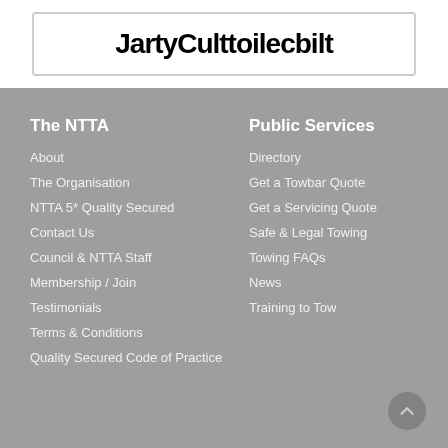[Figure (screenshot): Partial text visible at top: partially visible bold text (appears to be a URL or name) inside a bordered box]
The NTTA
About
The Organisation
NTTA 5* Quality Secured
Contact Us
Council & NTTA Staff
Membership / Join
Testimonials
Terms & Conditions
Quality Secured Code of Practice
Public Services
Directory
Get a Towbar Quote
Get a Servicing Quote
Safe & Legal Towing
Towing FAQs
News
Training to Tow